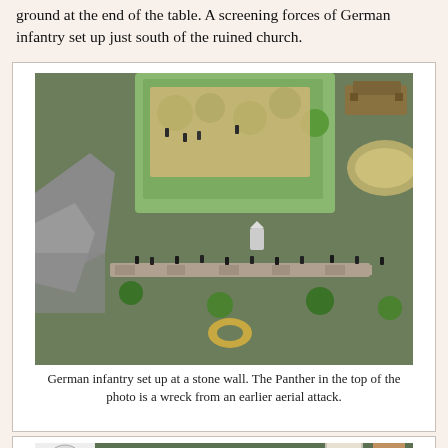ground at the end of the table. A screening forces of German infantry set up just south of the ruined church.
[Figure (photo): Top-down view of a wargaming table showing German infantry miniatures set up at a stone wall, with ruins of a church on the left and a wrecked Panther tank (from an earlier aerial attack) at the top of the photo. Green felt terrain with trees, hedges, and stone walls.]
German infantry set up at a stone wall. The Panther in the top of the photo is a wreck from an earlier aerial attack.
[Figure (photo): Wide-angle view of a wargaming table showing Allied and German forces. A road runs along the right side with buildings, trees in the center-right, and tanks/vehicles advancing across open ground toward hedged bocage terrain. Grey battle damage marker in center.]